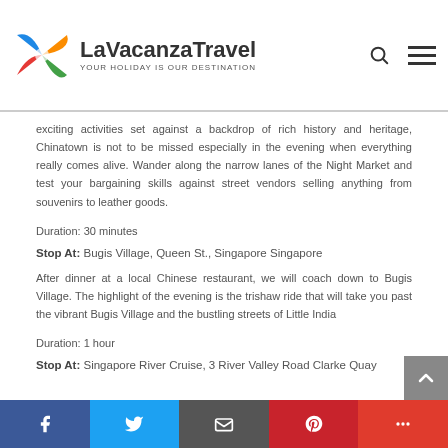LaVacanzaTravel — YOUR HOLIDAY IS OUR DESTINATION
exciting activities set against a backdrop of rich history and heritage, Chinatown is not to be missed especially in the evening when everything really comes alive. Wander along the narrow lanes of the Night Market and test your bargaining skills against street vendors selling anything from souvenirs to leather goods.
Duration: 30 minutes
Stop At: Bugis Village, Queen St., Singapore Singapore
After dinner at a local Chinese restaurant, we will coach down to Bugis Village. The highlight of the evening is the trishaw ride that will take you past the vibrant Bugis Village and the bustling streets of Little India
Duration: 1 hour
Stop At: Singapore River Cruise, 3 River Valley Road Clarke Quay
Facebook | Twitter | Email | Pinterest | More